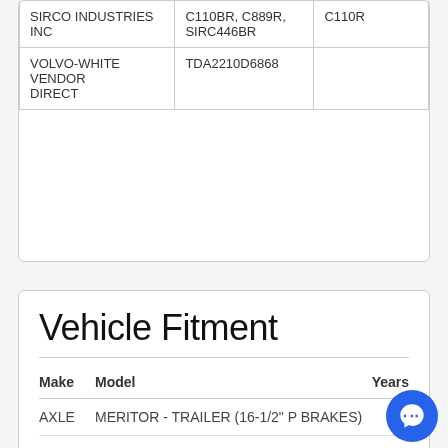|  |  |  |
| --- | --- | --- |
| SIRCO INDUSTRIES INC | C110BR, C889R, SIRC446BR | C110R |
| VOLVO-WHITE VENDOR DIRECT | TDA2210D6868 |  |
Vehicle Fitment
| Make | Model | Years |
| --- | --- | --- |
| AXLE | MERITOR - TRAILER (16-1/2" P BRAKES) | * |
| AXLE | MERITOR - TRAILER (16-1/2" Q BRAKES) | * |
| AXLE | MERITOR - TRAILER (16-1/2" Q-PLUS BRAKES) | * |